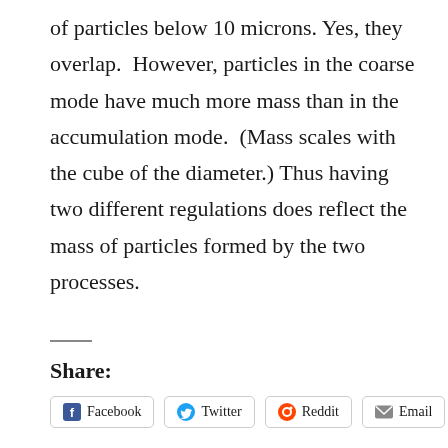of particles below 10 microns. Yes, they overlap.  However, particles in the coarse mode have much more mass than in the accumulation mode.  (Mass scales with the cube of the diameter.) Thus having two different regulations does reflect the mass of particles formed by the two processes.
Share:
Facebook
Twitter
Reddit
Email